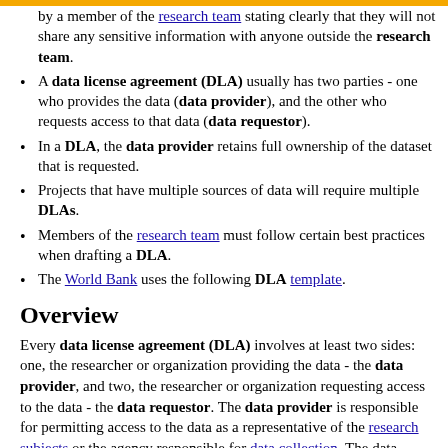...by a member of the research team stating clearly that they will not share any sensitive information with anyone outside the research team.
A data license agreement (DLA) usually has two parties - one who provides the data (data provider), and the other who requests access to that data (data requestor).
In a DLA, the data provider retains full ownership of the dataset that is requested.
Projects that have multiple sources of data will require multiple DLAs.
Members of the research team must follow certain best practices when drafting a DLA.
The World Bank uses the following DLA template.
Overview
Every data license agreement (DLA) involves at least two sides: one, the researcher or organization providing the data - the data provider, and two, the researcher or organization requesting access to the data - the data requestor. The data provider is responsible for permitting access to the data as a representative of the research subjects or the agency responsible for data collection. The data provider is also bound by laws and policies that deal with